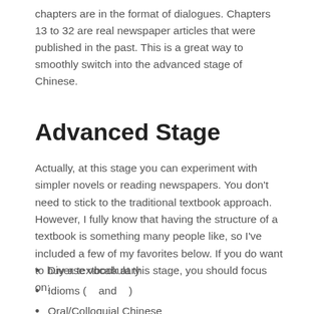chapters are in the format of dialogues. Chapters 13 to 32 are real newspaper articles that were published in the past. This is a great way to smoothly switch into the advanced stage of Chinese.
Advanced Stage
Actually, at this stage you can experiment with simpler novels or reading newspapers. You don't need to stick to the traditional textbook approach. However, I fully know that having the structure of a textbook is something many people like, so I've included a few of my favorites below. If you do want to buy a textbook at this stage, you should focus on:
Diverse vocabulary
Idioms (    and    )
Oral/Colloquial Chinese